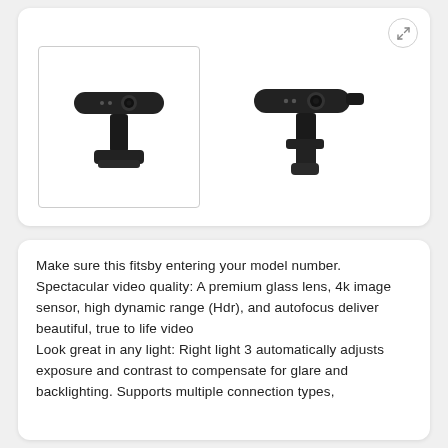[Figure (photo): Product gallery showing a Logitech BRIO 4K webcam. Left: thumbnail with border showing front view of webcam on stand. Right: side/angle view of webcam on mount bracket.]
Make sure this fitsby entering your model number. Spectacular video quality: A premium glass lens, 4k image sensor, high dynamic range (Hdr), and autofocus deliver beautiful, true to life video Look great in any light: Right light 3 automatically adjusts exposure and contrast to compensate for glare and backlighting. Supports multiple connection types,